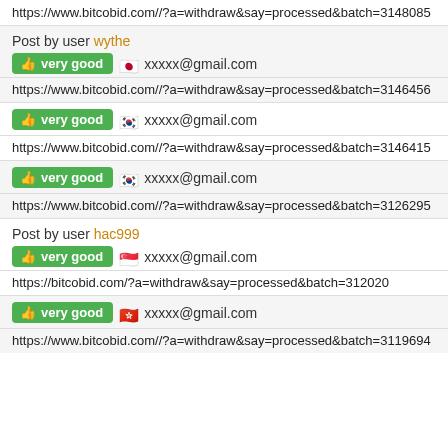https://www.bitcobid.com//?a=withdraw&say=processed&batch=3148085
Post by user wythe
very good  [JP flag] xxxxx@gmail.com
https://www.bitcobid.com//?a=withdraw&say=processed&batch=3146456
very good  [KR flag] xxxxx@gmail.com
https://www.bitcobid.com//?a=withdraw&say=processed&batch=3146415
very good  [KR flag] xxxxx@gmail.com
https://www.bitcobid.com//?a=withdraw&say=processed&batch=3126295
Post by user hac999
very good  [SG flag] xxxxx@gmail.com
https://bitcobid.com/?a=withdraw&say=processed&batch=312020
very good  [HK flag] xxxxx@gmail.com
https://www.bitcobid.com//?a=withdraw&say=processed&batch=3119694